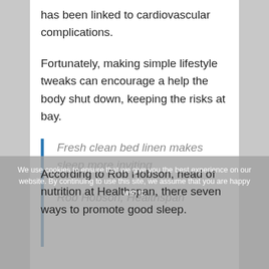has been linked to cardiovascular complications.
Fortunately, making simple lifestyle tweaks can encourage a help the body shut down, keeping the risks at bay.
Fresh clean bed linen makes sleep more inviting

Rob Hobson, Healthspan
According to Rob Hobson, head of nutrition at Healthspan, there seven ways to promote good sleep.
We use cookies to ensure that we give you the best experience on our website. By continuing to use this site, we assume that you are happy with it.